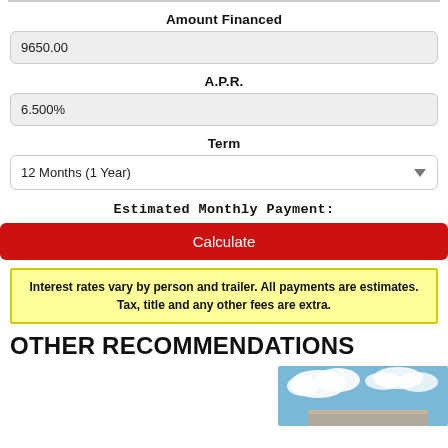Amount Financed
9650.00
A.P.R.
6.500%
Term
12 Months (1 Year)
Estimated Monthly Payment:
Calculate
Interest rates vary by person and trailer. All payments are estimates. Tax, title and any other fees are extra.
OTHER RECOMMENDATIONS
[Figure (photo): Partial view of a trailer roof against a blue sky with clouds]